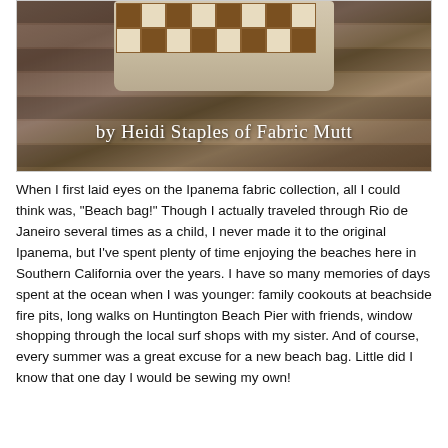[Figure (photo): A quilted beach bag with brown and white patchwork pattern and dark brown strap, resting on wooden slats. Text overlay reads 'by Heidi Staples of Fabric Mutt'.]
When I first laid eyes on the Ipanema fabric collection, all I could think was, "Beach bag!" Though I actually traveled through Rio de Janeiro several times as a child, I never made it to the original Ipanema, but I've spent plenty of time enjoying the beaches here in Southern California over the years. I have so many memories of days spent at the ocean when I was younger: family cookouts at beachside fire pits, long walks on Huntington Beach Pier with friends, window shopping through the local surf shops with my sister. And of course, every summer was a great excuse for a new beach bag. Little did I know that one day I would be sewing my own!